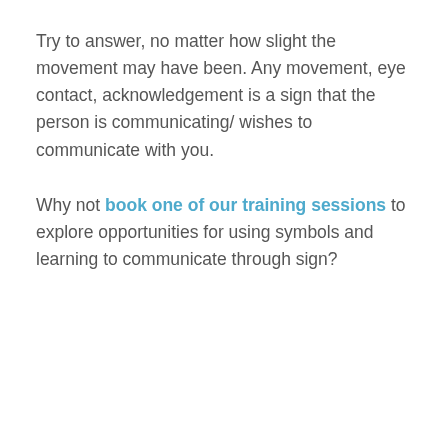Try to answer, no matter how slight the movement may have been. Any movement, eye contact, acknowledgement is a sign that the person is communicating/ wishes to communicate with you.
Why not book one of our training sessions to explore opportunities for using symbols and learning to communicate through sign?